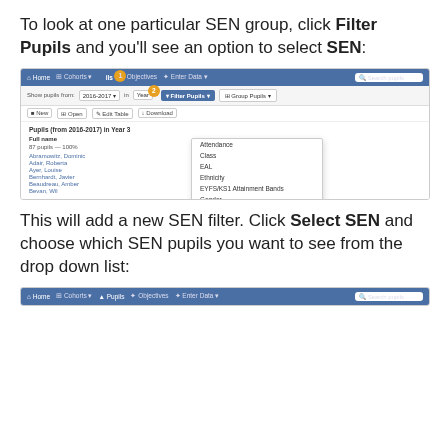To look at one particular SEN group, click Filter Pupils and you'll see an option to select SEN:
[Figure (screenshot): Screenshot of a school management interface showing a navigation bar with Home, Cohorts, Pupils, Objectives, Enter Data menus, and a filter dropdown open showing options: Attendance, Class, EAL, Ethnicity, EYFS/KS1 Attainment Bands, Gender, Intervention Groups, School Year Group, Pupil Premium, FSM, etc., SEN (highlighted), Specific Pupils, Start Date, Term Of Birth. Numbered callout badges 1, 2, 3 point to key interface elements.]
This will add a new SEN filter. Click Select SEN and choose which SEN pupils you want to see from the drop down list:
[Figure (screenshot): Partial screenshot of the same interface showing the navigation bar at the bottom of the page.]